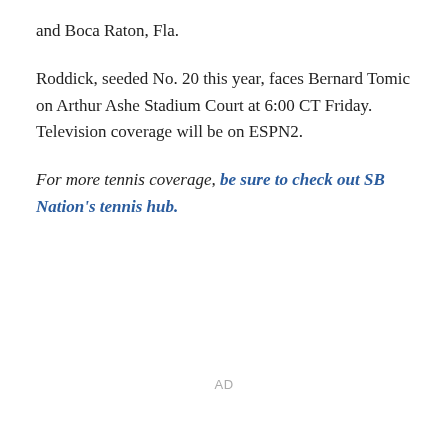and Boca Raton, Fla.
Roddick, seeded No. 20 this year, faces Bernard Tomic on Arthur Ashe Stadium Court at 6:00 CT Friday. Television coverage will be on ESPN2.
For more tennis coverage, be sure to check out SB Nation's tennis hub.
AD